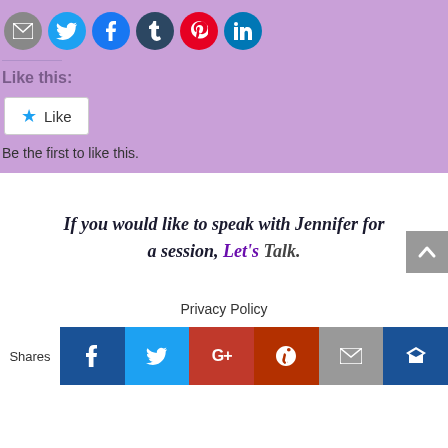[Figure (other): Row of social sharing icon circles: email (gray), Twitter (blue), Facebook (blue), Tumblr (dark), Pinterest (red), LinkedIn (teal)]
Like this:
[Figure (other): WordPress Like button widget with star icon and 'Like' text]
Be the first to like this.
If you would like to speak with Jennifer for a session, Let's Talk.
Privacy Policy
[Figure (other): Social sharing bar at bottom with Shares label and buttons: Facebook, Twitter, Google+, Pinterest, Email, Crown]